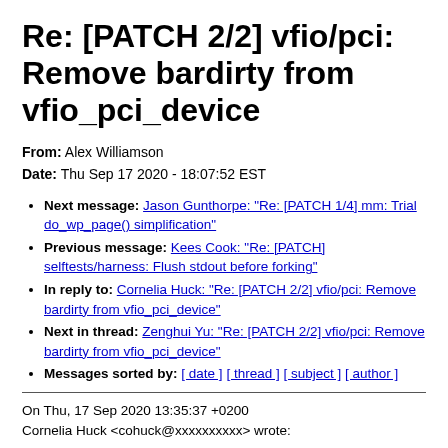Re: [PATCH 2/2] vfio/pci: Remove bardirty from vfio_pci_device
From: Alex Williamson
Date: Thu Sep 17 2020 - 18:07:52 EST
Next message: Jason Gunthorpe: "Re: [PATCH 1/4] mm: Trial do_wp_page() simplification"
Previous message: Kees Cook: "Re: [PATCH] selftests/harness: Flush stdout before forking"
In reply to: Cornelia Huck: "Re: [PATCH 2/2] vfio/pci: Remove bardirty from vfio_pci_device"
Next in thread: Zenghui Yu: "Re: [PATCH 2/2] vfio/pci: Remove bardirty from vfio_pci_device"
Messages sorted by: [ date ] [ thread ] [ subject ] [ author ]
On Thu, 17 Sep 2020 13:35:37 +0200
Cornelia Huck <cohuck@xxxxxxxxxx> wrote:
> On Thu, 17 Sep 2020 11:31:28 +0800